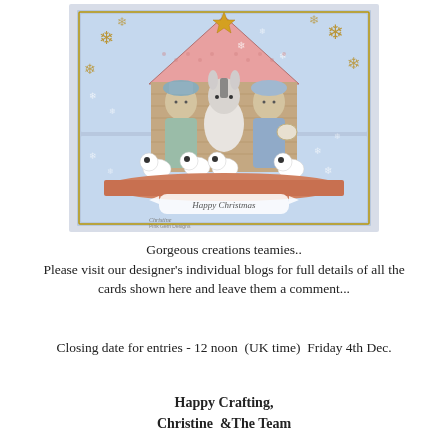[Figure (illustration): A handmade Christmas nativity scene card featuring cartoon-style figures of Joseph, Mary holding baby Jesus, a donkey, and four small sheep, set inside a stable shape with a star on top. Decorated with blue snowflake patterned background, golden snowflake embellishments, and a 'Happy Christmas' banner at the bottom. Signed 'Christine, Pink Gem Designs'.]
Gorgeous creations teamies..
Please visit our designer's individual blogs for full details of all the cards shown here and leave them a comment...
Closing date for entries - 12 noon  (UK time)  Friday 4th Dec.
Happy Crafting,
Christine  & The Team